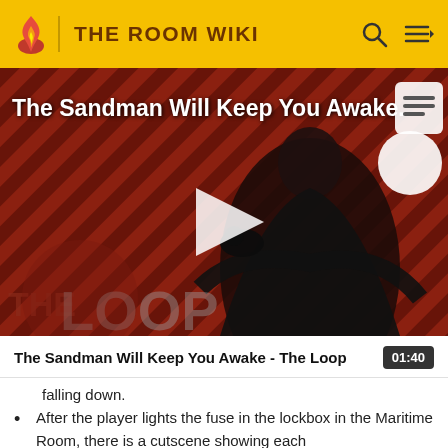THE ROOM WIKI
[Figure (screenshot): Video thumbnail for 'The Sandman Will Keep You Awake - The Loop' showing a dark-cloaked figure against a red diagonal striped background with 'THE LOOP' text watermark and a play button overlay]
The Sandman Will Keep You Awake - The Loop  01:40
falling down.
After the player lights the fuse in the lockbox in the Maritime Room, there is a cutscene showing each